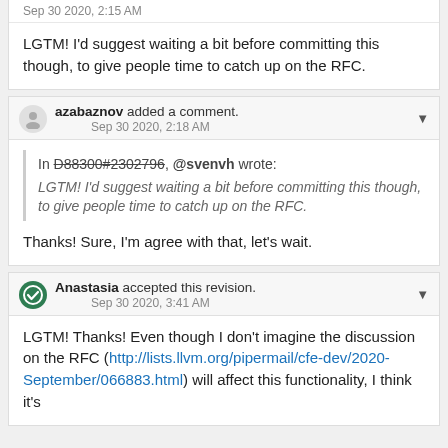Sep 30 2020, 2:15 AM
LGTM! I'd suggest waiting a bit before committing this though, to give people time to catch up on the RFC.
azabaznov added a comment. Sep 30 2020, 2:18 AM
In D88300#2302796, @svenvh wrote: LGTM! I'd suggest waiting a bit before committing this though, to give people time to catch up on the RFC.
Thanks! Sure, I'm agree with that, let's wait.
Anastasia accepted this revision. Sep 30 2020, 3:41 AM
LGTM! Thanks! Even though I don't imagine the discussion on the RFC (http://lists.llvm.org/pipermail/cfe-dev/2020-September/066883.html) will affect this functionality, I think it's